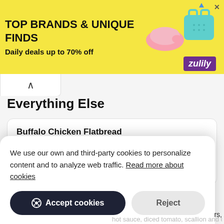[Figure (screenshot): Zulily advertisement banner with yellow background showing 'TOP BRANDS & UNIQUE FINDS' and 'Daily deals up to 70% off' with product images and purple Zulily logo]
Everything Else
Buffalo Chicken Flatbread
Diced chicken, buffalo ranch, colby jack cheese, banana peppers, crispy tortilla strips and ranch. For an extra kick add blue cheese crumbles.
We use our own and third-party cookies to personalize content and to analyze web traffic. Read more about cookies
rs, hot sauce, diced tomato, scallion and crispy tortilla strips.